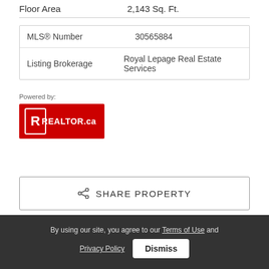| Floor Area | 2,143 Sq. Ft. |
| MLS® Number | 30565884 |
| Listing Brokerage | Royal Lepage Real Estate Services |
[Figure (logo): REALTOR.ca logo — red background with white R icon and REALTOR.ca text]
SHARE PROPERTY
By using our site, you agree to our Terms of Use and Privacy Policy  Dismiss